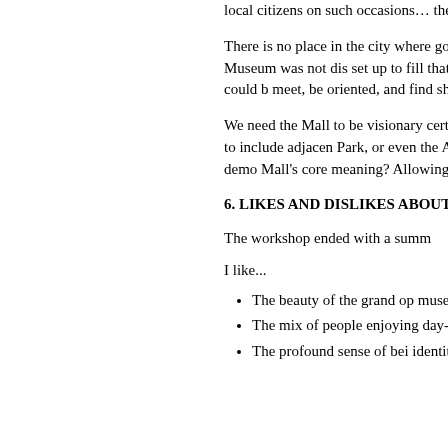local citizens on such occasions… the evening hours?
There is no place in the city where go to get the big picture. A Mall vi the new City Museum was not dis set up to fill that role.) The now-va America's first centennial, could b meet, be oriented, and find shelte route of the Downtown Circulator,
We need the Mall to be visionary certain that it is a broad and colle geographically to include adjacen Park, or even the Anacostia Wate that reinforced the vision of demo Mall's core meaning? Allowing for overbuilding on the existing open
6. LIKES AND DISLIKES ABOUT
The workshop ended with a summ
I like...
The beauty of the grand op museums, and open space
The mix of people enjoying day-to-day basis
The profound sense of bei identity that being on the